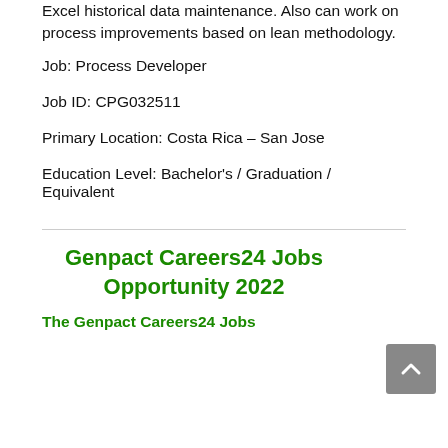Excel historical data maintenance. Also can work on process improvements based on lean methodology.
Job: Process Developer
Job ID: CPG032511
Primary Location: Costa Rica – San Jose
Education Level: Bachelor's / Graduation / Equivalent
Genpact Careers24 Jobs Opportunity 2022
The Genpact Careers24 Jobs